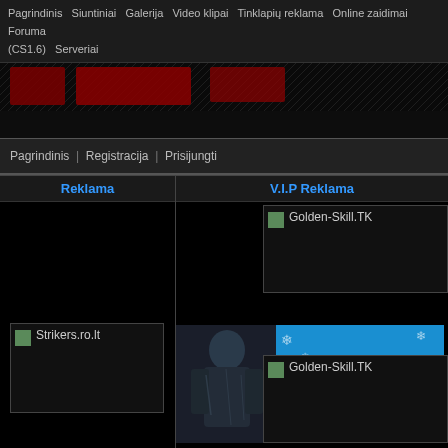Pagrindinis | Siuntiniai | Galerija | Video klipai | Tinklapių reklama | Online zaidimai | Foruma (CS1.6) | Serveriai
[Figure (screenshot): Dark banner area with red graphic elements and diagonal texture overlay]
Pagrindinis | Registracija | Prisijungti
Reklama
V.I.P Reklama
[Figure (screenshot): Strikers.ro.lt advertisement box with small green icon]
[Figure (screenshot): Golden-Skill.TK advertisement box with small icon]
[Figure (screenshot): Armored figure and WwW.Masofkin banner with Siuntiniai Pamoke text in blue background with snowflakes]
[Figure (screenshot): Golden-Skill.TK advertisement box with small icon]
Main » Online games » Action & Arcade